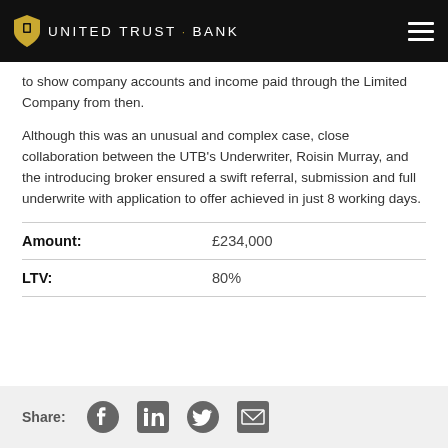United Trust Bank
to show company accounts and income paid through the Limited Company from then.
Although this was an unusual and complex case, close collaboration between the UTB's Underwriter, Roisin Murray, and the introducing broker ensured a swift referral, submission and full underwrite with application to offer achieved in just 8 working days.
| Label | Value |
| --- | --- |
| Amount: | £234,000 |
| LTV: | 80% |
Share: [Facebook] [LinkedIn] [Twitter] [Email]